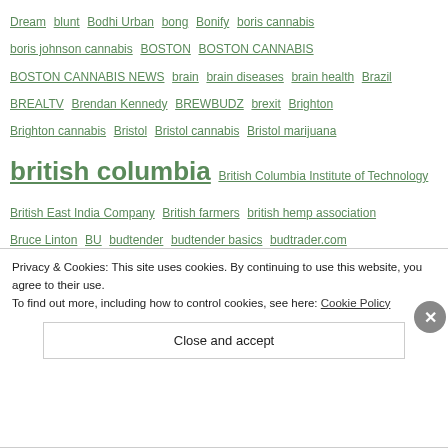Dream blunt Bodhi Urban bong Bonify boris cannabis boris johnson cannabis BOSTON BOSTON CANNABIS BOSTON CANNABIS NEWS brain brain diseases brain health Brazil BREALTV Brendan Kennedy BREWBUDZ brexit Brighton Brighton cannabis Bristol Bristol cannabis Bristol marijuana british columbia British Columbia Institute of Technology British East India Company British farmers british hemp association Bruce Linton BU budtender budtender basics budtrader.com buffy cannabis trial uk Bulgaria business busniess bussines australia cannabis but the rollout isn't exactly going according to plan. Currently but with a twist. Earlier this year buy cbd oi; uk buying cannabis By Chloe By Post Staff Report By Tony Diver cadmium CAFE CANNAIBS CAFE CAFE
Privacy & Cookies: This site uses cookies. By continuing to use this website, you agree to their use.
To find out more, including how to control cookies, see here: Cookie Policy
Close and accept